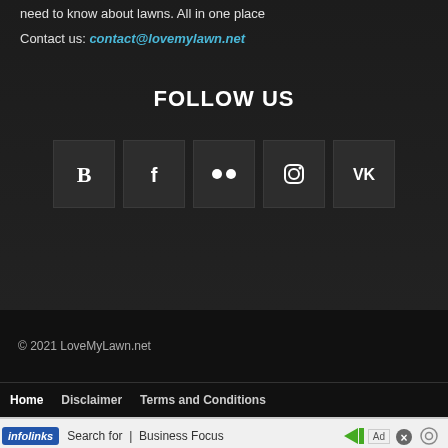need to know about lawns. All in one place
Contact us: contact@lovemylawn.net
FOLLOW US
[Figure (infographic): Five social media icon buttons: Blogger, Facebook, Flickr, Instagram, VK]
© 2021 LoveMyLawn.net
Home  Disclaimer  Terms and Conditions
infolinks  Search for | Business Focus  Ad  x
1.  HOW TO KILL A TREE STUMP